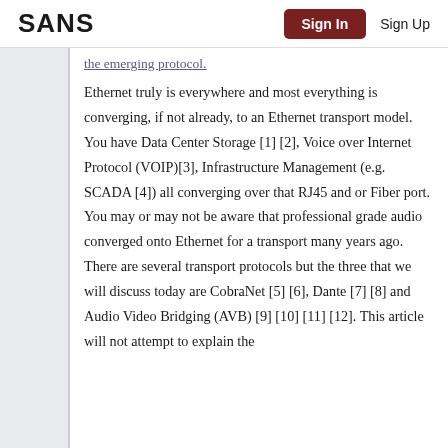SANS | Sign In | Sign Up
the emerging protocol. Ethernet truly is everywhere and most everything is converging, if not already, to an Ethernet transport model. You have Data Center Storage [1] [2], Voice over Internet Protocol (VOIP)[3], Infrastructure Management (e.g. SCADA [4]) all converging over that RJ45 and or Fiber port. You may or may not be aware that professional grade audio converged onto Ethernet for a transport many years ago. There are several transport protocols but the three that we will discuss today are CobraNet [5] [6], Dante [7] [8] and Audio Video Bridging (AVB) [9] [10] [11] [12]. This article will not attempt to explain the